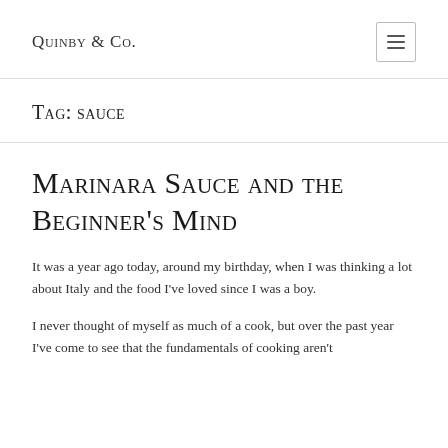Quinby & Co.
Tag: sauce
Marinara Sauce and the Beginner's Mind
It was a year ago today, around my birthday, when I was thinking a lot about Italy and the food I've loved since I was a boy.
I never thought of myself as much of a cook, but over the past year I've come to see that the fundamentals of cooking aren't